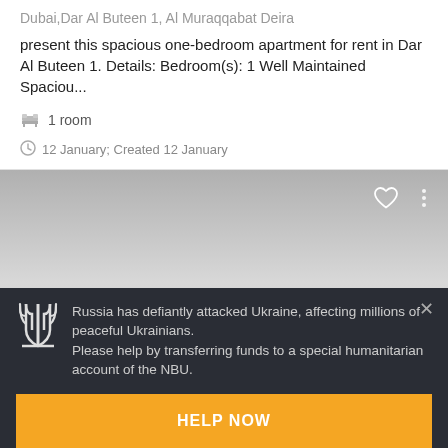Dubai,Dar Al Buteen 1, Al Muraqqabat Deira
present this spacious one-bedroom apartment for rent in Dar Al Buteen 1. Details: Bedroom(s): 1 Well Maintained Spaciou...
1 room
12 January; Created 12 January
[Figure (screenshot): Gray gradient image card with heart and more-options icons in top right corner]
Russia has defiantly attacked Ukraine, affecting millions of peaceful Ukrainians.
Please help by transferring funds to a special humanitarian account of the NBU.
HELP NOW